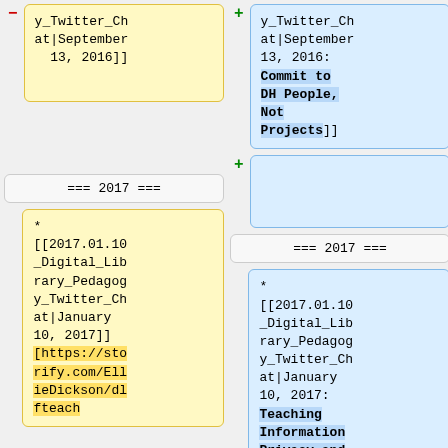y_Twitter_Chat|September 13, 2016]]
y_Twitter_Chat|September 13, 2016: Commit to DH People, Not Projects]]
+
=== 2017 ===
=== 2017 ===
* [[2017.01.10_Digital_Library_Pedagogy_Twitter_Chat|January 10, 2017]] [https://storify.com/EllieDickson/dlfteach
* [[2017.01.10_Digital_Library_Pedagogy_Twitter_Chat|January 10, 2017: Teaching Information Privacy and Security]]